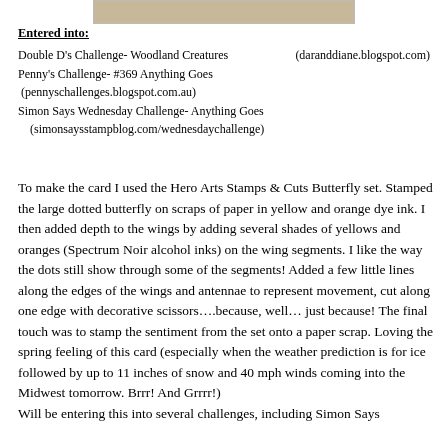[Figure (photo): Partial image strip at the top of the page, showing a cropped photograph]
Entered into:
Double D's Challenge- Woodland Creatures    (daranddiane.blogspot.com)
Penny's Challenge- #369 Anything Goes
 (pennyschallenges.blogspot.com.au)
Simon Says Wednesday Challenge- Anything Goes
    (simonsaysstampblog.com/wednesdaychallenge)
To make the card I used the Hero Arts Stamps & Cuts Butterfly set. Stamped the large dotted butterfly on scraps of paper in yellow and orange dye ink. I then added depth to the wings by adding several shades of yellows and oranges (Spectrum Noir alcohol inks) on the wing segments. I like the way the dots still show through some of the segments! Added a few little lines along the edges of the wings and antennae to represent movement, cut along one edge with decorative scissors….because, well… just because! The final touch was to stamp the sentiment from the set onto a paper scrap. Loving the spring feeling of this card (especially when the weather prediction is for ice followed by up to 11 inches of snow and 40 mph winds coming into the Midwest tomorrow. Brrr! And Grrrr!)
Will be entering this into several challenges, including Simon Says